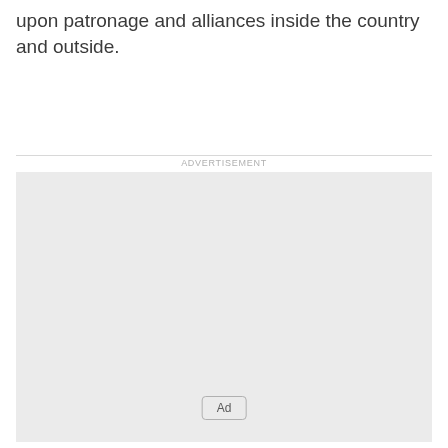upon patronage and alliances inside the country and outside.
[Figure (other): Advertisement placeholder box with 'ADVERTISEMENT' label above and an 'Ad' button near the bottom center of the grey box.]